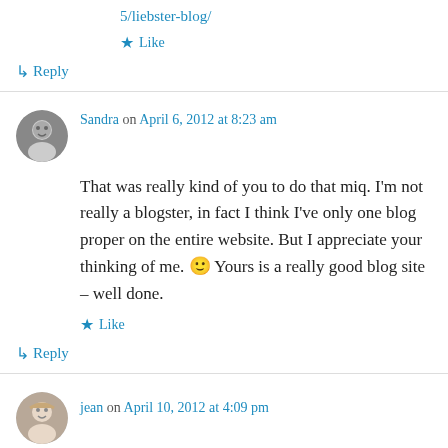5/liebster-blog/
★ Like
↳ Reply
Sandra on April 6, 2012 at 8:23 am
That was really kind of you to do that miq. I'm not really a blogster, in fact I think I've only one blog proper on the entire website. But I appreciate your thinking of me. 🙂 Yours is a really good blog site – well done.
★ Like
↳ Reply
jean on April 10, 2012 at 4:09 pm